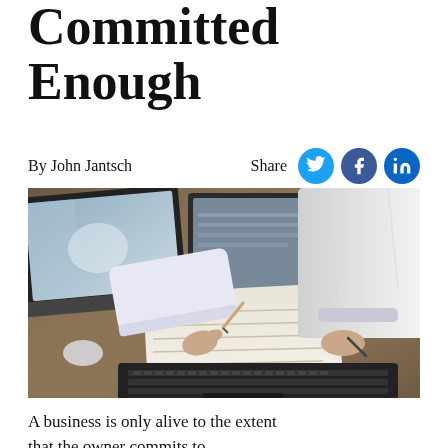Committed Enough
By John Jantsch
[Figure (photo): Two people at a desk with laptops and notebooks, one person writing with a pen while another looks on, working in a business or meeting setting.]
A business is only alive to the extent that the owner commits to